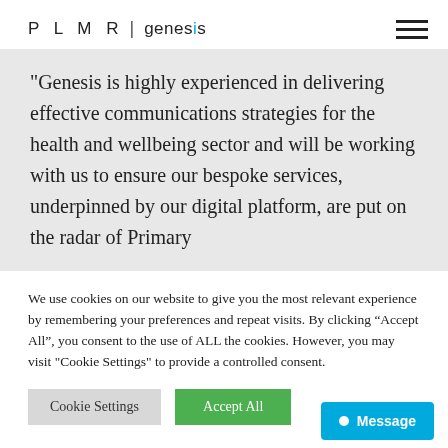PLMR | genesis
“Genesis is highly experienced in delivering effective communications strategies for the health and wellbeing sector and will be working with us to ensure our bespoke services, underpinned by our digital platform, are put on the radar of Primary
We use cookies on our website to give you the most relevant experience by remembering your preferences and repeat visits. By clicking “Accept All”, you consent to the use of ALL the cookies. However, you may visit "Cookie Settings" to provide a controlled consent.